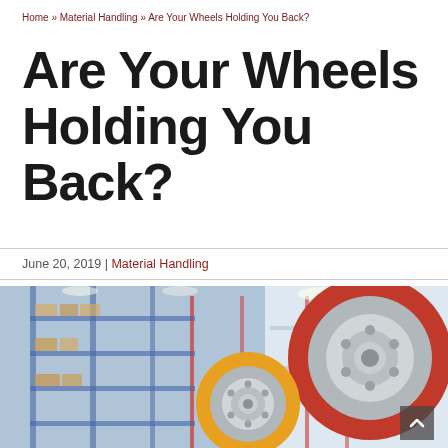Home » Material Handling » Are Your Wheels Holding You Back?
Are Your Wheels Holding You Back?
June 20, 2019 | Material Handling
[Figure (illustration): Warehouse background with industrial shelving and boxes on the left side (blue-tinted), overlaid with illustration of two industrial wheels/casters — a smaller yellow/orange wheel and a larger red/dark-red wheel with grey hub details — on the right side.]